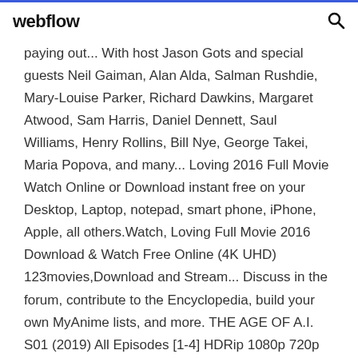webflow
paying out... With host Jason Gots and special guests Neil Gaiman, Alan Alda, Salman Rushdie, Mary-Louise Parker, Richard Dawkins, Margaret Atwood, Sam Harris, Daniel Dennett, Saul Williams, Henry Rollins, Bill Nye, George Takei, Maria Popova, and many... Loving 2016 Full Movie Watch Online or Download instant free on your Desktop, Laptop, notepad, smart phone, iPhone, Apple, all others.Watch, Loving Full Movie 2016 Download & Watch Free Online (4K UHD) 123movies,Download and Stream... Discuss in the forum, contribute to the Encyclopedia, build your own MyAnime lists, and more. THE AGE OF A.I. S01 (2019) All Episodes [1-4] HDRip 1080p 720p 480p